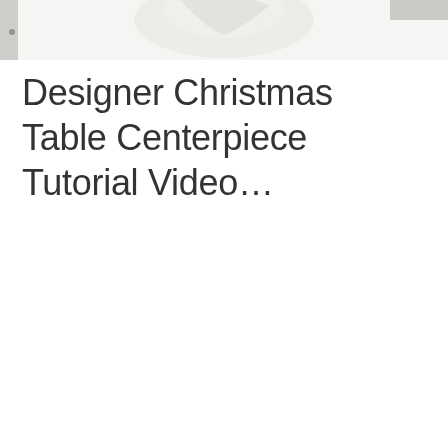[Figure (photo): Partial view of a Christmas table centerpiece arrangement, showing light-colored floral or decorative elements against a white background. Only the top portion of the image is visible, cropped at the top of the page.]
Designer Christmas Table Centerpiece Tutorial Video…